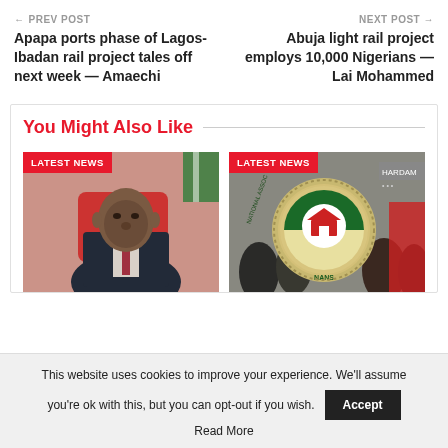← PREV POST | NEXT POST →
Apapa ports phase of Lagos-Ibadan rail project tales off next week — Amaechi
Abuja light rail project employs 10,000 Nigerians — Lai Mohammed
You Might Also Like
[Figure (photo): Photo of a man in a suit sitting, with a red badge reading LATEST NEWS]
[Figure (photo): Photo of a crowd with a NANS logo badge, with a red badge reading LATEST NEWS]
This website uses cookies to improve your experience. We'll assume you're ok with this, but you can opt-out if you wish.
Accept
Read More